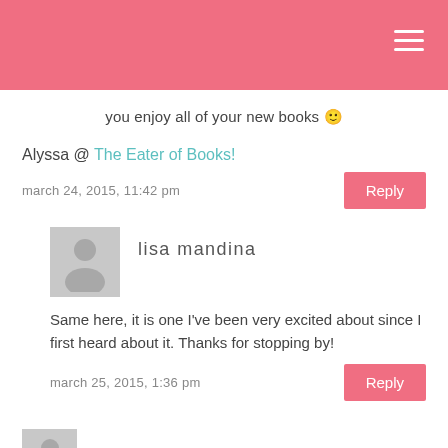you enjoy all of your new books 🙂
Alyssa @ The Eater of Books!
march 24, 2015, 11:42 pm
Reply
lisa mandina
Same here, it is one I've been very excited about since I first heard about it. Thanks for stopping by!
march 25, 2015, 1:36 pm
Reply
sarah @